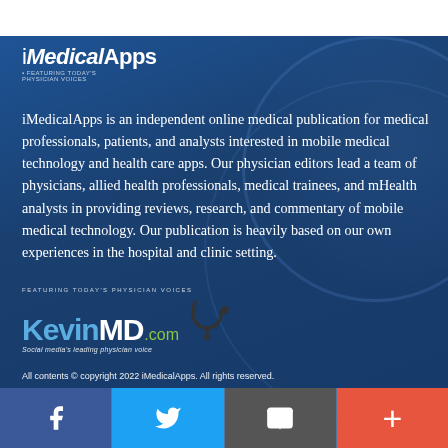[Figure (logo): iMedicalApps logo with white text on dark blue background]
iMedicalApps is an independent online medical publication for medical professionals, patients, and analysts interested in mobile medical technology and health care apps. Our physician editors lead a team of physicians, allied health professionals, medical trainees, and mHealth analysts in providing reviews, research, and commentary of mobile medical technology. Our publication is heavily based on our own experiences in the hospital and clinic setting.
[Figure (logo): KevinMD.com logo - Social media's leading physician voice]
All contents © copyright 2022 iMedicalApps. All rights reserved.
Facebook | Twitter | Email | Plus navigation buttons